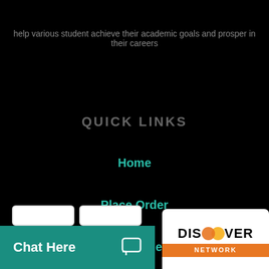help various student achieve their academic goals and prosper in their careers
QUICK LINKS
Home
Place Order
Latest Orders
Client's area
Hello
We offer HIGH QUALITY PLAGIARISM FREE essays & termpapers.

Chat...
Chat Here
[Figure (logo): Discover Network logo — orange and yellow overlapping circles with 'DISCOVER NETWORK' text]